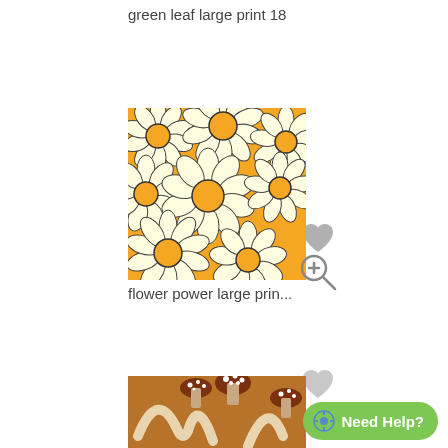green leaf large print 18
[Figure (photo): Yellow/orange background fabric pattern with large white daisy flowers with yellow centers]
flower power large prin...
[Figure (photo): Orange-brown background fabric pattern with illustrated mushrooms and curved white/cream shapes, partially visible]
Need Help?